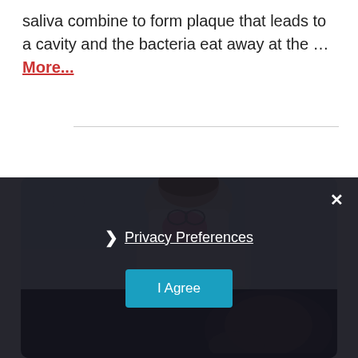saliva combine to form plaque that leads to a cavity and the bacteria eat away at the … More...
[Figure (photo): A dentist wearing a pink face mask leaning over a patient during a dental examination. The lower portion is overlaid with a dark privacy consent dialog.]
Privacy Preferences | I Agree